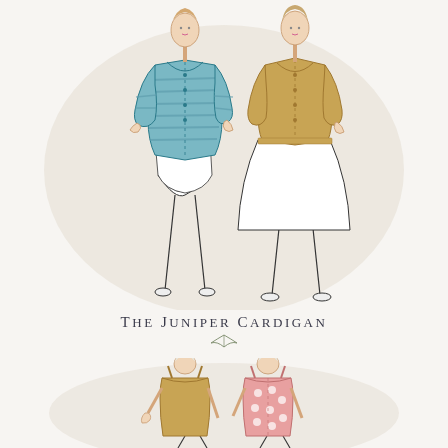[Figure (illustration): Fashion illustration of two women wearing cardigans. Left figure wears a teal/blue striped cardigan with a white skirt. Right figure wears a mustard/golden cardigan with a wide white flared skirt. Both have elongated stylized proportions. Background has a soft beige wash.]
The Juniper Cardigan
[Figure (illustration): Fashion illustration of two women wearing jumper dresses/pinafores. Left figure wears a mustard/golden sleeveless shift dress. Right figure wears a pink polka-dot pinafore dress with straps. Both figures have retro 1960s-style hair. Background has a soft beige wash.]